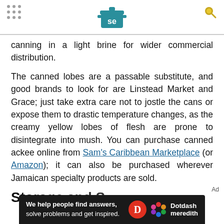Serious Eats header with logo
canning in a light brine for wider commercial distribution.
The canned lobes are a passable substitute, and good brands to look for are Linstead Market and Grace; just take extra care not to jostle the cans or expose them to drastic temperature changes, as the creamy yellow lobes of flesh are prone to disintegrate into mush. You can purchase canned ackee online from Sam's Caribbean Marketplace (or Amazon); it can also be purchased wherever Jamaican specialty products are sold.
Storage and S...
Ad — We help people find answers, solve problems and get inspired. Dotdash meredith